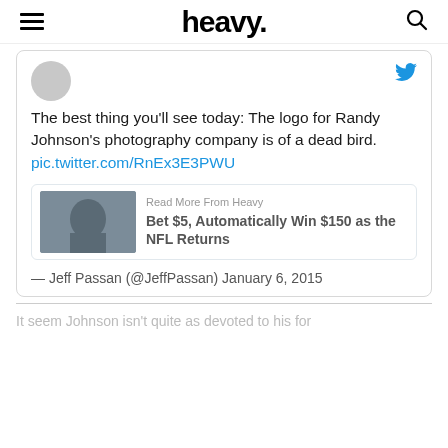heavy.
[Figure (screenshot): Embedded tweet card from Jeff Passan (@JeffPassan) dated January 6, 2015. Tweet text: 'The best thing you'll see today: The logo for Randy Johnson's photography company is of a dead bird. pic.twitter.com/RnEx3E3PWU'. Contains a 'Read More From Heavy' promo box with image and link 'Bet $5, Automatically Win $150 as the NFL Returns'.]
It seem Johnson isn't quite as devoted to his for